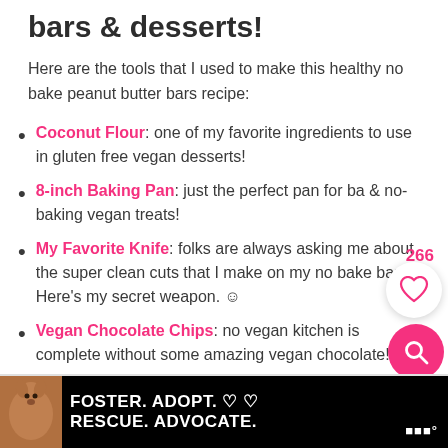bars & desserts!
Here are the tools that I used to make this healthy no bake peanut butter bars recipe:
Coconut Flour: one of my favorite ingredients to use in gluten free vegan desserts!
8-inch Baking Pan: just the perfect pan for baking & no-baking vegan treats!
My Favorite Knife: folks are always asking me about the super clean cuts that I make on my no bake bars. Here's my secret weapon. ☺
Vegan Chocolate Chips: no vegan kitchen is complete without some amazing vegan chocolate!
[Figure (infographic): Ad banner: dog photo on left, text FOSTER. ADOPT. RESCUE. ADVOCATE. on teal/black background with heart icons and close button]